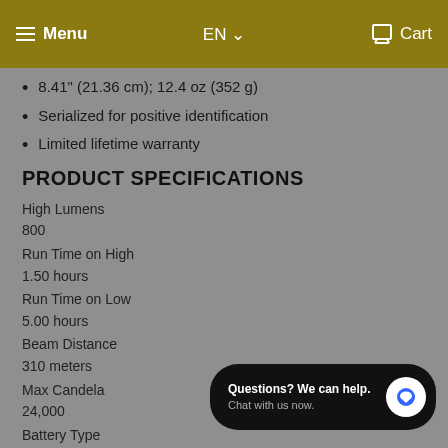Menu  EN  Cart
8.41" (21.36 cm); 12.4 oz (352 g)
Serialized for positive identification
Limited lifetime warranty
PRODUCT SPECIFICATIONS
High Lumens
800
Run Time on High
1.50 hours
Run Time on Low
5.00 hours
Beam Distance
310 meters
Max Candela
24,000
Battery Type
Questions? We can help. Chat with us now.